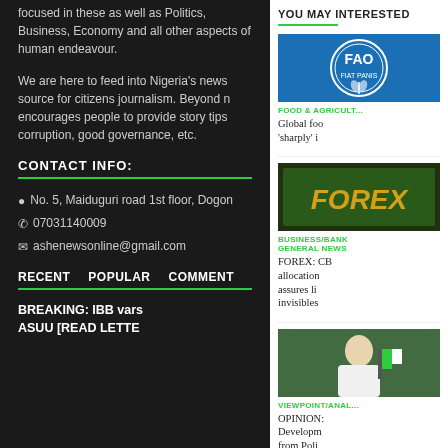focused in these as well as Politics, Business, Economy and all other aspects of human endeavour.
We are here to feed into Nigeria's news source for citizens journalism. Beyond news, encourages people to provide story tips corruption, good governance, etc.
CONTACT INFO:
No. 5, Maiduguri road 1st floor, Dogon
07031140009
ashenewsonline@gmail.com
RECENT   POPULAR   COMMENT
BREAKING: IBB vars ASUU [READ LETTE
YOU MAY INTERESTED
[Figure (logo): FAO (Food and Agriculture Organization) circular blue logo with wheat design and text FIAT PANIS]
FOOD & AGRICULTURE
Global foo 'sharply' i
[Figure (photo): FOREX text in gold letters on green/dark background]
BUSINESS/BANK GENERAL NEWS
FOREX: CB allocation assures li invisibles
[Figure (photo): Man in white traditional attire seated at a table with Nigerian flags in background]
VIEWPOINT/ANAL
OPINION: Developm from Poli Abubakar